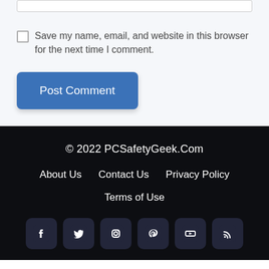Save my name, email, and website in this browser for the next time I comment.
Post Comment
© 2022 PCSafetyGeek.Com
About Us   Contact Us   Privacy Policy
Terms of Use
[Figure (other): Social media icon buttons: Facebook, Twitter, Instagram, Pinterest, YouTube, RSS]